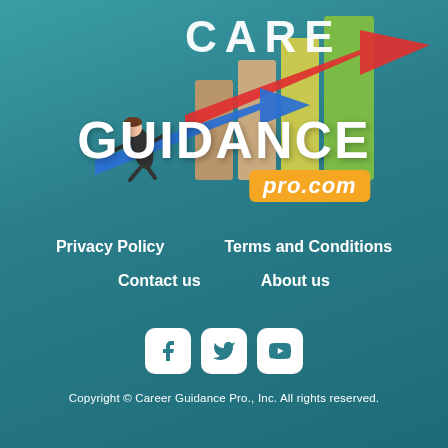[Figure (logo): Career Guidance Pro logo with illustrated person surfing on an arrow over rising bar chart, with CARE letters above and GUIDANCE text below, and pro.com in an orange badge]
Privacy Policy
Terms and Conditions
Contact us
About us
[Figure (other): Social media icons: Facebook, Twitter, YouTube]
Copyright © Career Guidance Pro., Inc. All rights reserved.